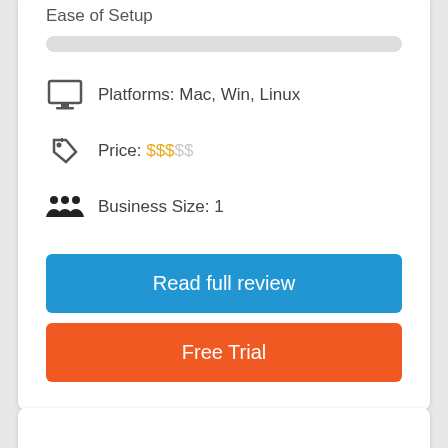Ease of Setup
[Figure (infographic): Gray progress bar showing Ease of Setup score]
Platforms: Mac, Win, Linux
Price: $$$$$
Business Size: 1
Read full review
Free Trial
[Figure (logo): Software logo with green badge showing score 8.4]